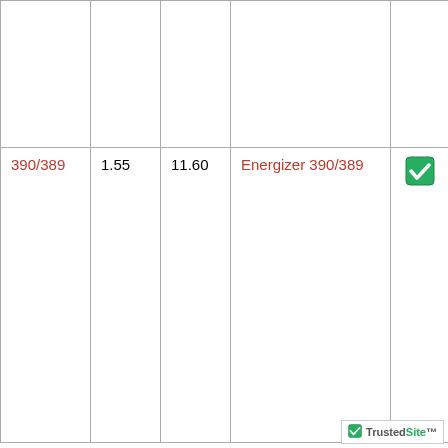|  |  |  |  |  |
| --- | --- | --- | --- | --- |
|  |  |  |  |  |
| 390/389 | 1.55 | 11.60 | Energizer 390/389 | ✓ |